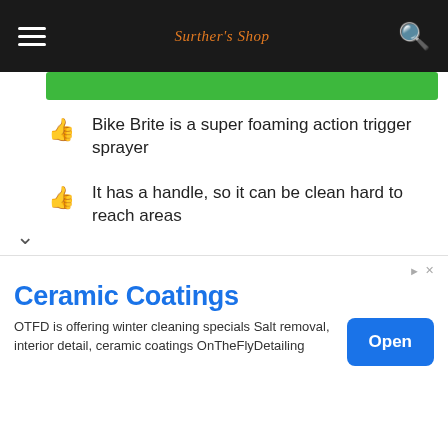Surthers Shop
Bike Brite is a super foaming action trigger sprayer
It has a handle, so it can be clean hard to reach areas
The direction can translate into six languages
This cleaner is a super motorcycle wash and degreaser spray or washes kit
The cleaning method is so easy to do
It helps to prevent water spots
Ceramic Coatings
OTFD is offering winter cleaning specials Salt removal, interior detail, ceramic coatings OnTheFlyDetailing